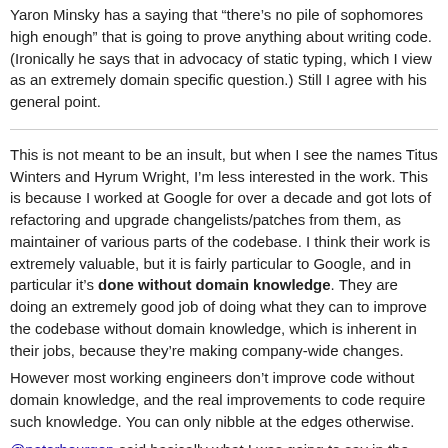Yaron Minsky has a saying that “there’s no pile of sophomores high enough” that is going to prove anything about writing code. (Ironically he says that in advocacy of static typing, which I view as an extremely domain specific question.) Still I agree with his general point.
This is not meant to be an insult, but when I see the names Titus Winters and Hyrum Wright, I’m less interested in the work. This is because I worked at Google for over a decade and got lots of refactoring and upgrade changelists/patches from them, as maintainer of various parts of the codebase. I think their work is extremely valuable, but it is fairly particular to Google, and in particular it’s done without domain knowledge. They are doing an extremely good job of doing what they can to improve the codebase without domain knowledge, which is inherent in their jobs, because they’re making company-wide changes.
However most working engineers don’t improve code without domain knowledge, and the real improvements to code require such knowledge. You can only nibble at the edges otherwise.
@peterbourgon said basically what I was going to say in the original thread – this is advice is generally good in the abstract,